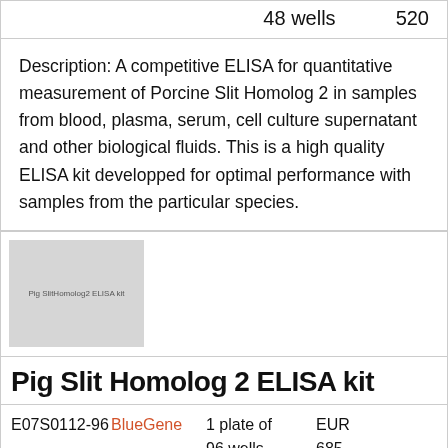| 48 wells | 520 |
Description: A competitive ELISA for quantitative measurement of Porcine Slit Homolog 2 in samples from blood, plasma, serum, cell culture supernatant and other biological fluids. This is a high quality ELISA kit developped for optimal performance with samples from the particular species.
[Figure (photo): Product image placeholder for Pig SlitHomolog2 ELISA kit]
Pig Slit Homolog 2 ELISA kit
| E07S0112-96 | BlueGene | 1 plate of 96 wells | EUR 685 |